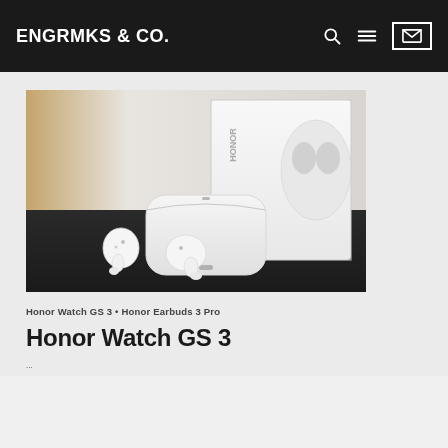ENGRMKS & CO.
[Figure (photo): Honor Earbuds 3 Pro white TWS earbuds with charging case on a dark table, with product box in background]
Honor Watch GS 3 • Honor Earbuds 3 Pro
Honor Watch GS 3
...article introduction text (partially visible, cut off at bottom)